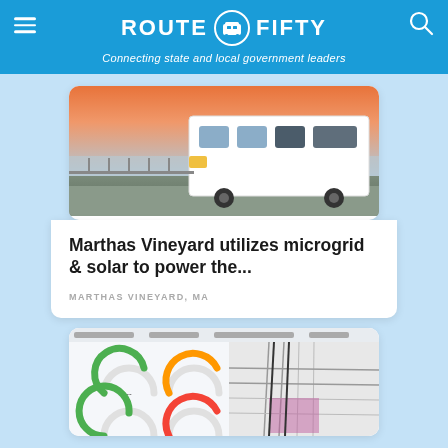ROUTE FIFTY — Connecting state and local government leaders
[Figure (photo): A white transit bus parked near a waterfront at sunset with orange and pink sky]
Marthas Vineyard utilizes microgrid & solar to power the...
MARTHAS VINEYARD, MA
[Figure (screenshot): Dashboard screenshot showing gauge charts (green and orange/red semicircle meters) and a city map with colored overlays]